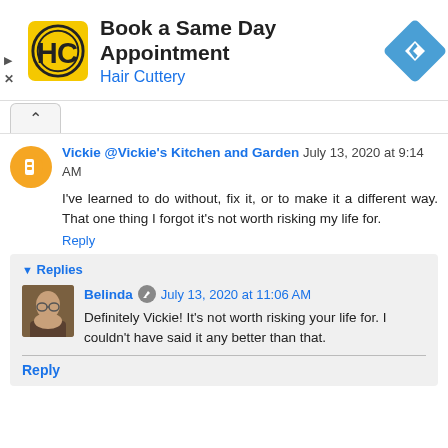[Figure (infographic): Hair Cuttery advertisement banner: yellow square logo with HC monogram, text 'Book a Same Day Appointment' and 'Hair Cuttery' in blue, blue diamond navigation icon on right. Ad controls (play and X icons) on left, collapse arrow button below.]
Vickie @Vickie's Kitchen and Garden July 13, 2020 at 9:14 AM
I've learned to do without, fix it, or to make it a different way. That one thing I forgot it's not worth risking my life for.
Reply
Replies
Belinda July 13, 2020 at 11:06 AM
Definitely Vickie! It's not worth risking your life for. I couldn't have said it any better than that.
Reply